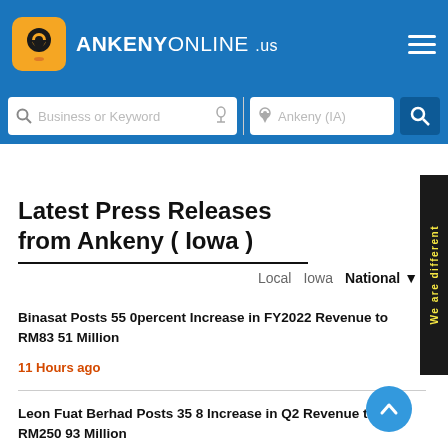ANKENYONLINE .us
Business or Keyword   Ankeny (IA)
Latest Press Releases from Ankeny ( Iowa )
Local   Iowa   National ▼
We are different
Binasat Posts 55 0percent Increase in FY2022 Revenue to RM83 51 Million
11 Hours ago
Leon Fuat Berhad Posts 35 8 Increase in Q2 Revenue to RM250 93 Million